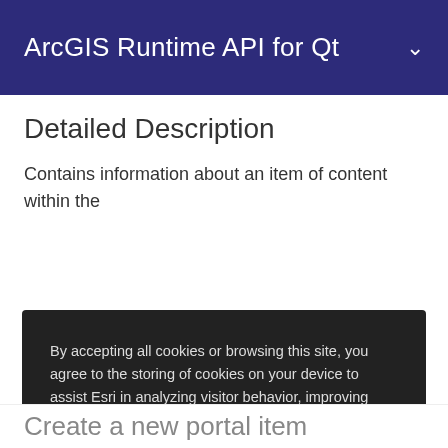ArcGIS Runtime API for Qt
Detailed Description
Contains information about an item of content within the
By accepting all cookies or browsing this site, you agree to the storing of cookies on your device to assist Esri in analyzing visitor behavior, improving your experience, and delivering tailored advertising on and off our sites. Manage cookies here or at the bottom of any page.
Accept All Cookies
Cookies Settings
Create a new portal item